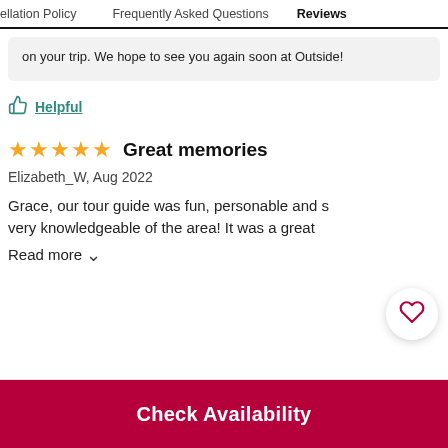ellation Policy   Frequently Asked Questions   Reviews
on your trip. We hope to see you again soon at Outside!
👍 Helpful
★★★★★ Great memories
Elizabeth_W, Aug 2022
Grace, our tour guide was fun, personable and s very knowledgeable of the area! It was a great
Read more ∨
Check Availability